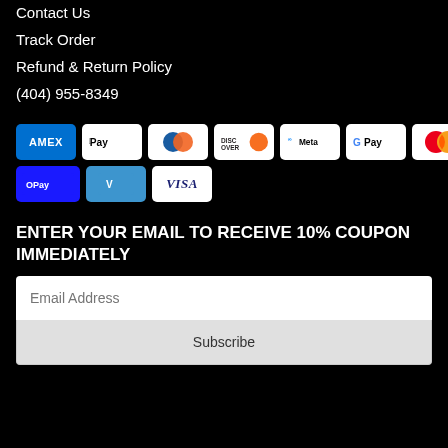Contact Us
Track Order
Refund & Return Policy
(404) 955-8349
[Figure (other): Payment method icons: American Express, Apple Pay, Diners Club, Discover, Meta, Google Pay, Mastercard, PayPal, OPay, Venmo, Visa]
ENTER YOUR EMAIL TO RECEIVE 10% COUPON IMMEDIATELY
Email Address
Subscribe